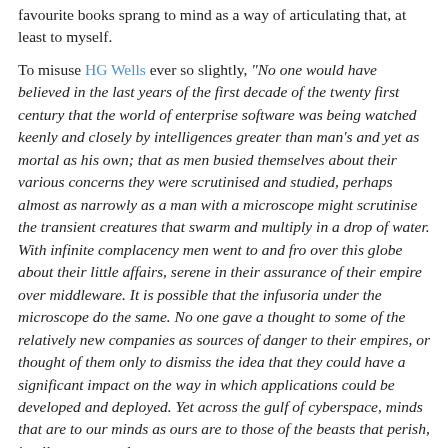favourite books sprang to mind as a way of articulating that, at least to myself.
To misuse HG Wells ever so slightly, "No one would have believed in the last years of the first decade of the twenty first century that the world of enterprise software was being watched keenly and closely by intelligences greater than man's and yet as mortal as his own; that as men busied themselves about their various concerns they were scrutinised and studied, perhaps almost as narrowly as a man with a microscope might scrutinise the transient creatures that swarm and multiply in a drop of water. With infinite complacency men went to and fro over this globe about their little affairs, serene in their assurance of their empire over middleware. It is possible that the infusoria under the microscope do the same. No one gave a thought to some of the relatively new companies as sources of danger to their empires, or thought of them only to dismiss the idea that they could have a significant impact on the way in which applications could be developed and deployed. Yet across the gulf of cyberspace, minds that are to our minds as ours are to those of the beasts that perish, intellects vast and